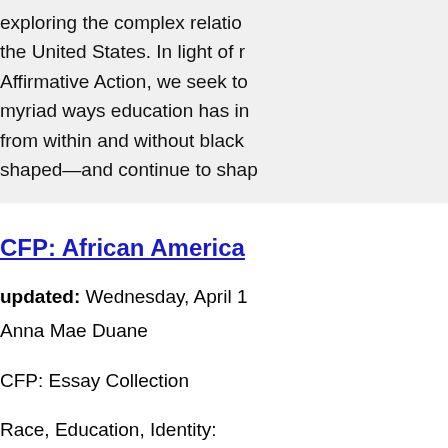exploring the complex relatio... the United States. In light of r... Affirmative Action, we seek to... myriad ways education has in... from within and without black... shaped—and continue to shap...
CFP: African America...
updated: Wednesday, April 1...
Anna Mae Duane
CFP: Essay Collection
Race, Education, Identity:
Narratives of African America...
We invite submissions for an ...
exploring the complex relatio...